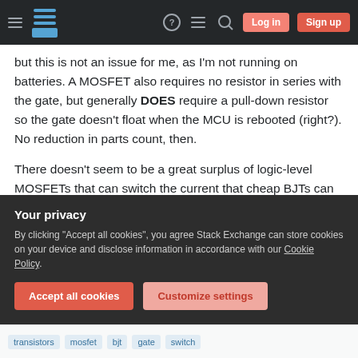Navigation bar with hamburger menu, Stack Exchange logo, help icon, chat icon, search icon, Log in button, Sign up button
but this is not an issue for me, as I'm not running on batteries. A MOSFET also requires no resistor in series with the gate, but generally DOES require a pull-down resistor so the gate doesn't float when the MCU is rebooted (right?). No reduction in parts count, then.
There doesn't seem to be a great surplus of logic-level MOSFETs that can switch the current that cheap BJTs can (~600-800mA for a 2N2222, for example), and the ones that do exist (TN0702, for example) are hard to find and significantly more
Your privacy
By clicking "Accept all cookies", you agree Stack Exchange can store cookies on your device and disclose information in accordance with our Cookie Policy.
Accept all cookies | Customize settings